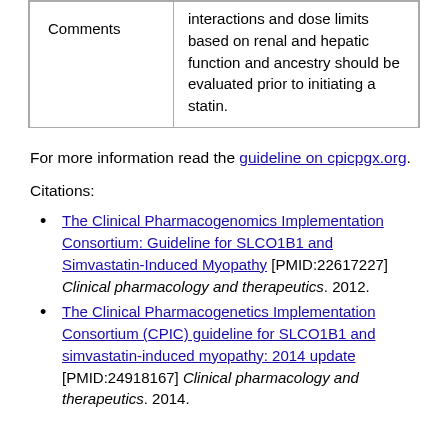|  |  |
| --- | --- |
| Comments | interactions and dose limits based on renal and hepatic function and ancestry should be evaluated prior to initiating a statin. |
For more information read the guideline on cpicpgx.org.
Citations:
The Clinical Pharmacogenomics Implementation Consortium: Guideline for SLCO1B1 and Simvastatin-Induced Myopathy [PMID:22617227] Clinical pharmacology and therapeutics. 2012.
The Clinical Pharmacogenetics Implementation Consortium (CPIC) guideline for SLCO1B1 and simvastatin-induced myopathy: 2014 update [PMID:24918167] Clinical pharmacology and therapeutics. 2014.